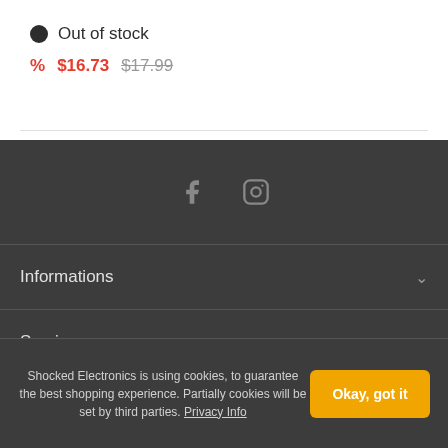● Out of stock
% $16.73  $17.99 (strikethrough)
Informations
Service
Company
Shocked Electronics is using cookies, to guarantee the best shopping experience. Partially cookies will be set by third parties. Privacy Info
Okay, got it